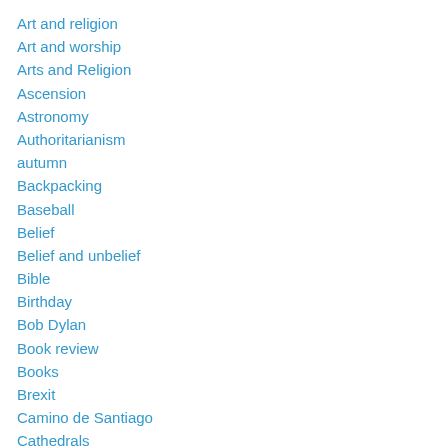Art and religion
Art and worship
Arts and Religion
Ascension
Astronomy
Authoritarianism
autumn
Backpacking
Baseball
Belief
Belief and unbelief
Bible
Birthday
Bob Dylan
Book review
Books
Brexit
Camino de Santiago
Cathedrals
Catholicism in America